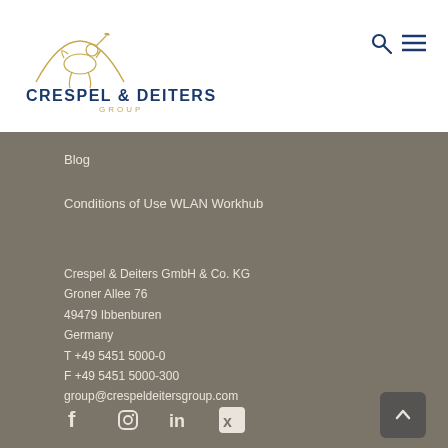[Figure (logo): Crespel & Deiters Group logo with golden mythological figure and blue text]
Blog
Conditions of Use WLAN Workhub
Crespel & Deiters GmbH & Co. KG
Groner Allee 76
49479 Ibbenburen
Germany
T +49 5451 5000-0
F +49 5451 5000-300
group@crespeldeitersgroup.com
[Figure (infographic): Social media icons: Facebook, Instagram, LinkedIn, Xing]